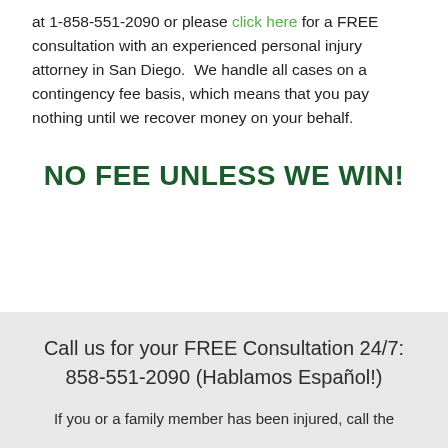at 1-858-551-2090 or please click here for a FREE consultation with an experienced personal injury attorney in San Diego.  We handle all cases on a contingency fee basis, which means that you pay nothing until we recover money on your behalf.
NO FEE UNLESS WE WIN!
Call us for your FREE Consultation 24/7: 858-551-2090 (Hablamos Español!)
If you or a family member has been injured, call the